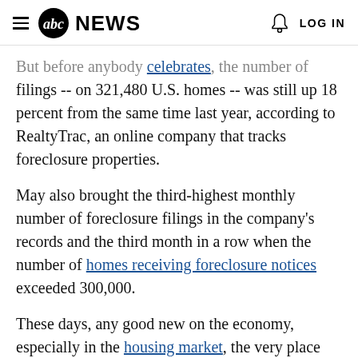abc NEWS  LOG IN
But before anybody celebrates, the number of filings -- on 321,480 U.S. homes -- was still up 18 percent from the same time last year, according to RealtyTrac, an online company that tracks foreclosure properties.
May also brought the third-highest monthly number of foreclosure filings in the company's records and the third month in a row when the number of homes receiving foreclosure notices exceeded 300,000.
These days, any good new on the economy, especially in the housing market, the very place where the recession started, is very